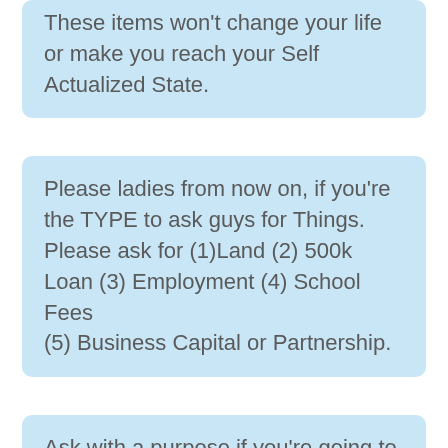These items won't change your life or make you reach your Self Actualized State.
Please ladies from now on, if you're the TYPE to ask guys for Things. Please ask for (1)Land (2) 500k Loan (3) Employment (4) School Fees (5) Business Capital or Partnership.
Ask with a purpose if you're going to ask for anything at all, don't ask to remain the same, ask to change.